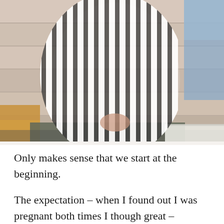[Figure (photo): A pregnant woman in a black and white striped shirt holding her belly, photographed from the side, with a wooden plank background and a blue element on the right side of the image.]
Only makes sense that we start at the beginning.
The expectation – when I found out I was pregnant both times I though great – morning sickness won't